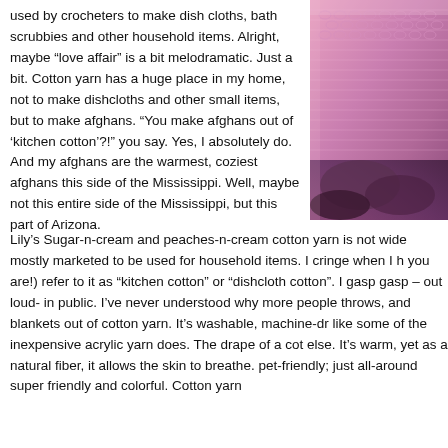used by crocheters to make dish cloths, bath scrubbies and other household items. Alright, maybe “love affair” is a bit melodramatic. Just a bit. Cotton yarn has a huge place in my home, not to make dishcloths and other small items, but to make afghans. “You make afghans out of ‘kitchen cotton’?!” you say. Yes, I absolutely do. And my afghans are the warmest, coziest afghans this side of the Mississippi. Well, maybe not this entire side of the Mississippi, but this part of Arizona.
[Figure (photo): Close-up photo of pink and purple crocheted or knitted textile, showing texture of cotton yarn work.]
Lily’s Sugar-n-cream and peaches-n-cream cotton yarn is not wide mostly marketed to be used for household items. I cringe when I h you are!) refer to it as “kitchen cotton” or “dishcloth cotton”. I gasp gasp – out loud- in public. I’ve never understood why more people throws, and blankets out of cotton yarn. It’s washable, machine-dr like some of the inexpensive acrylic yarn does. The drape of a cot else. It’s warm, yet as a natural fiber, it allows the skin to breathe. pet-friendly; just all-around super friendly and colorful. Cotton yarn